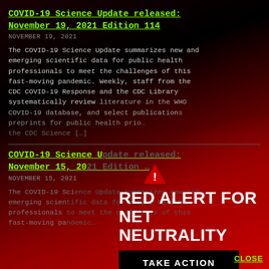COVID-19 Science Update released: November 19, 2021 Edition 114
NOVEMBER 19, 2021
The COVID-19 Science Update summarizes new and emerging scientific data for public health professionals to meet the challenges of this fast-moving pandemic. Weekly, staff from the CDC COVID-19 Response and the CDC Library systematically review literature in the WHO COVID-19 database, and select publications preprints for public health prio… the CDC Science […]
COVID-19 Science Update released: November 15, 20…
NOVEMBER 15, 2021
The COVID-19 Sci… emerging scien… professionals … fast-moving pa…
[Figure (infographic): Red Alert for Net Neutrality overlay with warning triangle icon, bold white text 'RED ALERT FOR NET NEUTRALITY', a black 'TAKE ACTION' button, and a green 'CLOSE' link in bottom right corner.]